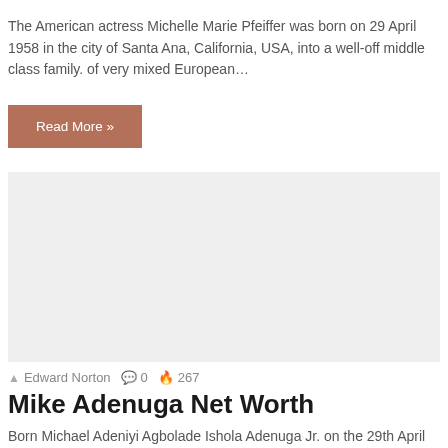The American actress Michelle Marie Pfeiffer was born on 29 April 1958 in the city of Santa Ana,  California, USA, into a well-off middle class family. of very mixed European…
Read More »
[Figure (photo): Gray placeholder image block]
Edward Norton  0  267
Mike Adenuga Net Worth
Born Michael Adeniyi Agbolade Ishola Adenuga Jr. on the 29th April 1953, in Ibadan, Oyo, Nigeria, Mike is best known to the